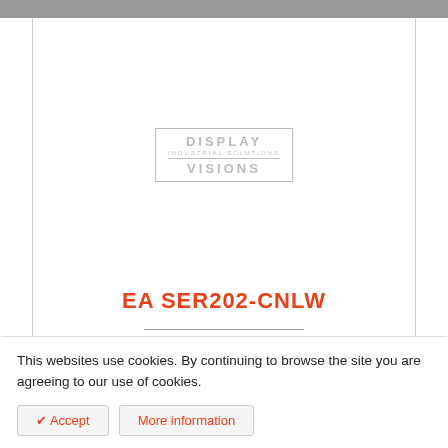[Figure (logo): Display Visions industrial solutions logo in gray, enclosed in a rectangular border]
EA SER202-CNLW
RS-232 TEXTDISPLAY 2X20
Text display (blue-white) 2x20 (12.7mm character height) with RS-232 interface and LED backlight. Incl. on/off command
This websites use cookies. By continuing to browse the site you are agreeing to our use of cookies.